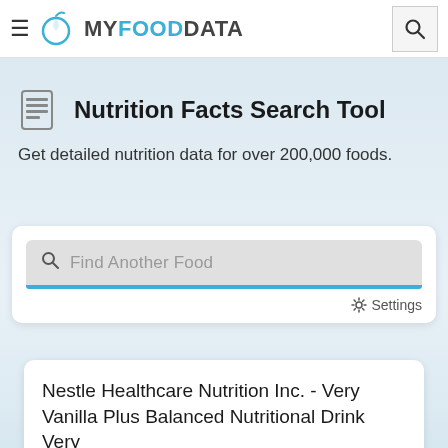MY FOOD DATA
Nutrition Facts Search Tool
Get detailed nutrition data for over 200,000 foods.
[Figure (screenshot): Search input field with placeholder text 'Find Another Food' and a blue underline, with a Settings gear icon below]
Nestle Healthcare Nutrition Inc. - Very Vanilla Plus Balanced Nutritional Drink Very Vanilla
1 ... 1 bottle (237g)